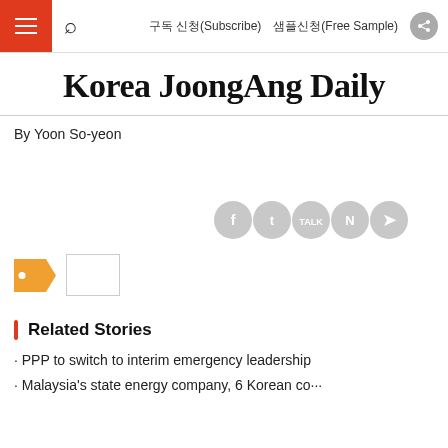구독 신청(Subscribe)   샘플신청(Free Sample)
Korea JoongAng Daily
By Yoon So-yeon
[Figure (other): Social sharing icons: Facebook, Twitter, KakaoTalk, Naver, share button]
[Figure (other): Orange tag icon and a small white/bordered box representing a tag or label UI element]
Related Stories
PPP to switch to interim emergency leadership
Malaysia's state energy company, 6 Korean co···